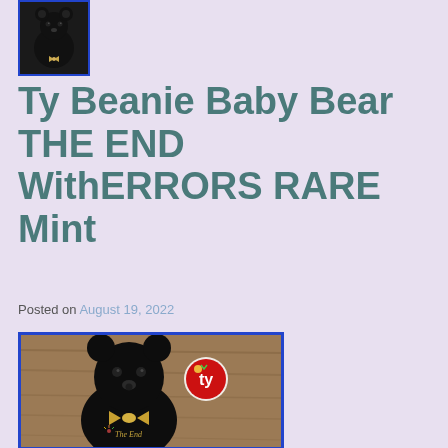[Figure (photo): Small thumbnail photo of a black Ty Beanie Baby bear with blue border]
Ty Beanie Baby Bear THE END WithERRORS RARE Mint
Posted on August 19, 2022
[Figure (photo): Main photo of a black Ty Beanie Baby bear called 'The End' with a gold bow tie and Ty heart tag, sitting on a wooden surface]